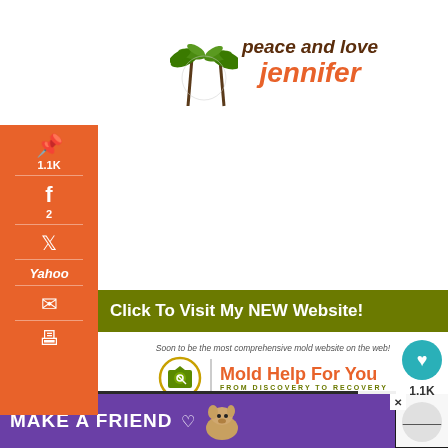[Figure (logo): Palm tree logo with 'peace and love jennifer' blog header text]
[Figure (screenshot): Social share sidebar with Pinterest 1.1K, Facebook 2, Twitter, Yahoo, email, print icons on orange background]
[Figure (infographic): Green banner: Click To Visit My NEW Website!]
[Figure (logo): Mold Help For You logo - From Discovery To Recovery, MoldHelpForYou.com]
Are you mold sensitive? Mold causes illness...
Take my free 5 minute immune response and
WHAT'S NEXT → Coconut Oil for Eczema
[Figure (infographic): MAKE A FRIEND purple advertisement banner with dog illustration]